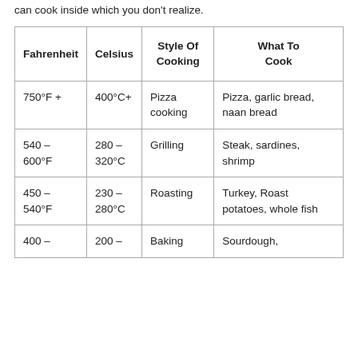can cook inside which you don't realize.
| Fahrenheit | Celsius | Style Of Cooking | What To Cook |
| --- | --- | --- | --- |
| 750°F + | 400°C+ | Pizza cooking | Pizza, garlic bread, naan bread |
| 540 – 600°F | 280 – 320°C | Grilling | Steak, sardines, shrimp |
| 450 – 540°F | 230 – 280°C | Roasting | Turkey, Roast potatoes, whole fish |
| 400 – | 200 – | Baking | Sourdough, |